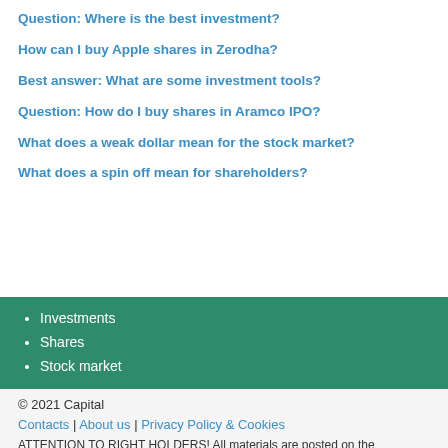Question: Where is the best investment?
How can I buy Apple shares in Zerodha?
Best answer: What are some investment tools?
Question: How do I buy shares in Aramco IPO?
What does a weak dollar mean for the stock market?
What does a spin off mean for shareholders?
Investments
Shares
Stock market
© 2021 Capital
Contacts | About us | Privacy Policy & Cookies
ATTENTION TO RIGHT HOLDERS! All materials are posted on the